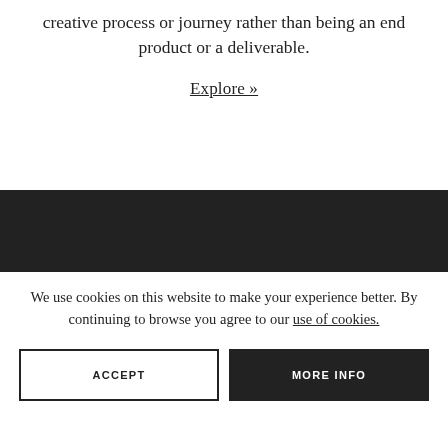creative process or journey rather than being an end product or a deliverable.
Explore »
[Figure (other): Dark/black horizontal banner bar]
We use cookies on this website to make your experience better. By continuing to browse you agree to our use of cookies.
ACCEPT
MORE INFO